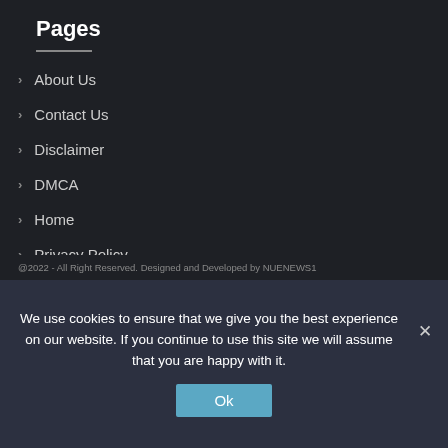Pages
About Us
Contact Us
Disclaimer
DMCA
Home
Privacy Policy
Terms and Conditions
@2022 - All Right Reserved. Designed and Developed by NUENEWS1
We use cookies to ensure that we give you the best experience on our website. If you continue to use this site we will assume that you are happy with it.